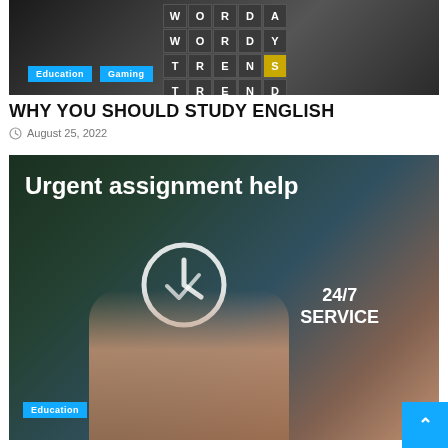[Figure (photo): Wordle-style letter grid game on a tablet/phone screen with dark letter tiles and one gold tile]
Education
Gaming
WHY YOU SHOULD STUDY ENGLISH
August 25, 2022
[Figure (photo): Urgent assignment help advertisement image showing a clock/checkmark icon with 24/7 SERVICE text and a hand pointing, on a world map background]
Education